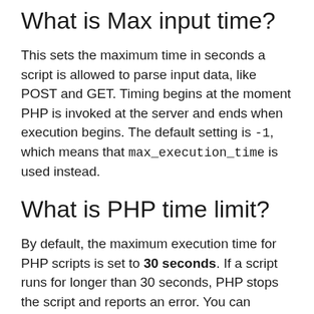What is Max input time?
This sets the maximum time in seconds a script is allowed to parse input data, like POST and GET. Timing begins at the moment PHP is invoked at the server and ends when execution begins. The default setting is -1, which means that max_execution_time is used instead.
What is PHP time limit?
By default, the maximum execution time for PHP scripts is set to 30 seconds. If a script runs for longer than 30 seconds, PHP stops the script and reports an error. You can control the amount of time PHP allows scripts to run by changing the max_execution_time